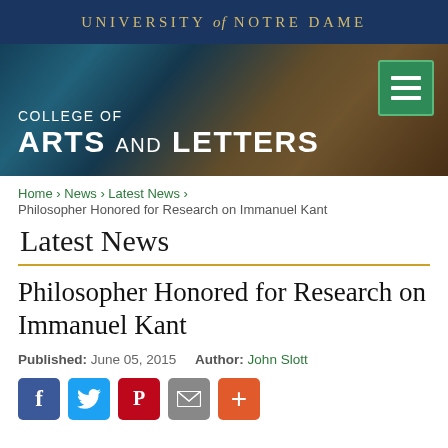UNIVERSITY of NOTRE DAME
[Figure (screenshot): Hero banner image of College of Arts and Letters with blurred background showing wood and blue tones, with hamburger menu icon in green box at top right]
Home › News › Latest News ›
Philosopher Honored for Research on Immanuel Kant
Latest News
Philosopher Honored for Research on Immanuel Kant
Published: June 05, 2015    Author: John Slott
[Figure (infographic): Social sharing buttons: Facebook (blue), Twitter (light blue), Pinterest (red), Email (grey), Plus/More (orange)]